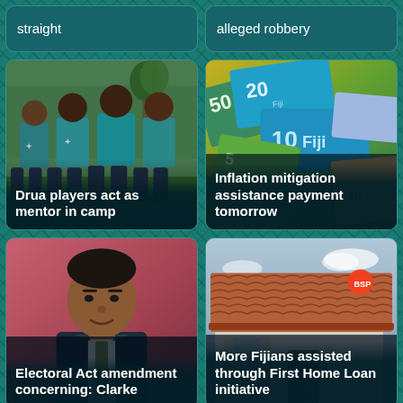[Figure (screenshot): Partial news card top - text 'straight' on teal background]
[Figure (screenshot): Partial news card top - text 'alleged robbery' on teal background]
[Figure (photo): Rugby players in teal jerseys smiling outdoors - caption: Drua players act as mentor in camp]
[Figure (photo): Fiji dollar banknotes (50, 20, 10, 5 FJD) - caption: Inflation mitigation assistance payment tomorrow]
[Figure (photo): Man in suit against pink/red background - caption: Electoral Act amendment concerning: Clarke]
[Figure (photo): House with terracotta roof and BSP logo - caption: More Fijians assisted through First Home Loan initiative]